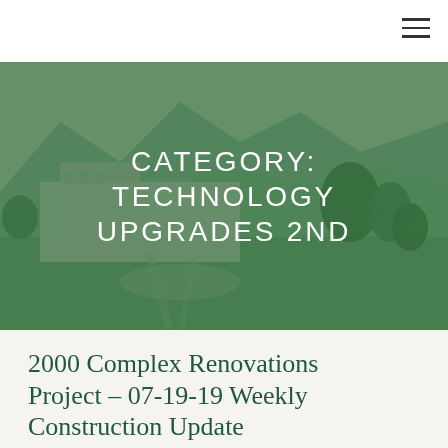[Figure (photo): Aerial view of a campus building complex with mountains in the background, green lawns and pathways, overlaid with a green tint. Text overlay reads: CATEGORY: TECHNOLOGY UPGRADES 2ND]
CATEGORY: TECHNOLOGY UPGRADES 2ND
2000 Complex Renovations Project – 07-19-19 Weekly Construction Update